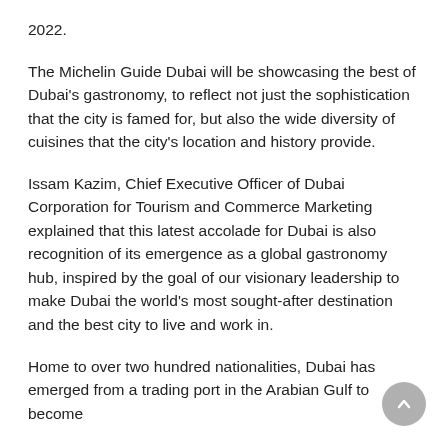2022.
The Michelin Guide Dubai will be showcasing the best of Dubai's gastronomy, to reflect not just the sophistication that the city is famed for, but also the wide diversity of cuisines that the city's location and history provide.
Issam Kazim, Chief Executive Officer of Dubai Corporation for Tourism and Commerce Marketing explained that this latest accolade for Dubai is also recognition of its emergence as a global gastronomy hub, inspired by the goal of our visionary leadership to make Dubai the world's most sought-after destination and the best city to live and work in.
Home to over two hundred nationalities, Dubai has emerged from a trading port in the Arabian Gulf to become